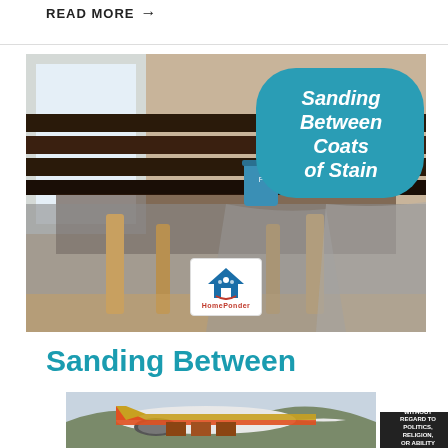READ MORE →
[Figure (photo): A wooden table being stained, with a teal paint can on top and drop cloths underneath. A teal speech bubble overlay reads 'Sanding Between Coats of Stain' in bold italic white text. A home improvement website logo appears at the bottom center.]
Sanding Between Coats of Stain
[Figure (photo): Advertisement banner showing an airplane being loaded with cargo, with text 'WITHOUT REGARD TO' visible on the right side.]